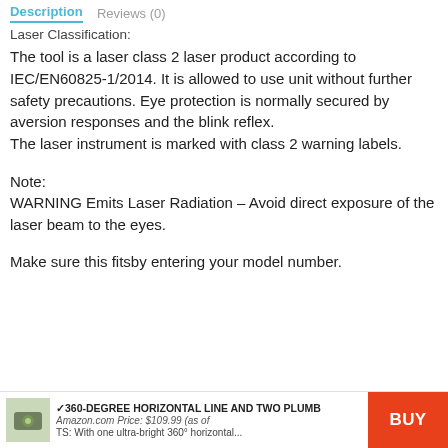Description   Reviews (0)
Laser Classification:
The tool is a laser class 2 laser product according to IEC/EN60825-1/2014. It is allowed to use unit without further safety precautions. Eye protection is normally secured by aversion responses and the blink reflex.
The laser instrument is marked with class 2 warning labels.
Note:
WARNING Emits Laser Radiation – Avoid direct exposure of the laser beam to the eyes.
Make sure this fitsby entering your model number.
✓360-DEGREE HORIZONTAL LINE AND TWO PLUMB
Amazon.com Price: $109.99 (as of
TS: With one ultra-bright 360° horizontal... BUY